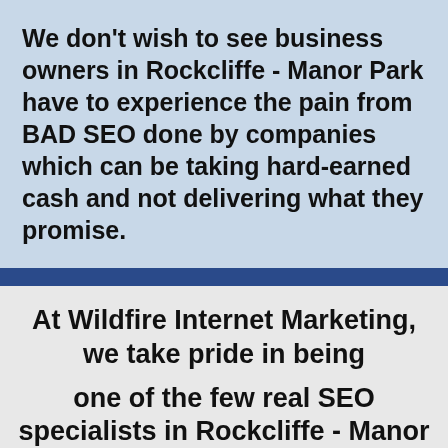We don't wish to see business owners in Rockcliffe - Manor Park have to experience the pain from BAD SEO done by companies which can be taking hard-earned cash and not delivering what they promise.
At Wildfire Internet Marketing, we take pride in being one of the few real SEO specialists in Rockcliffe - Manor Park